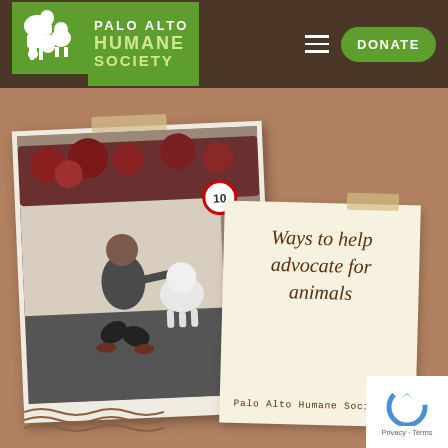[Figure (logo): Palo Alto Humane Society logo with green background showing silhouettes of a horse, dog, cat, and rabbit, with text PALO ALTO HUMANE SOCIETY]
Ways to help advocate for animals
[Figure (photo): A woman crouching down and interacting affectionately with a fluffy white dog on a city street. Red flowering vines in the background.]
Palo Alto Humane Society